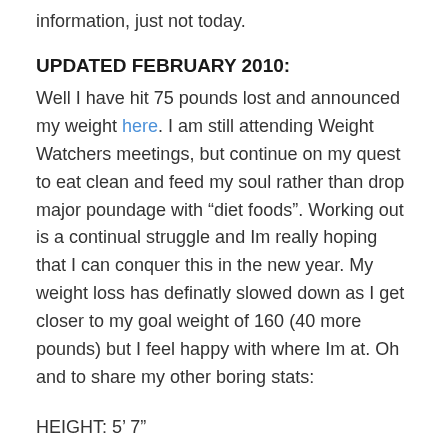information, just not today.
UPDATED FEBRUARY 2010:
Well I have hit 75 pounds lost and announced my weight here. I am still attending Weight Watchers meetings, but continue on my quest to eat clean and feed my soul rather than drop major poundage with “diet foods”. Working out is a continual struggle and Im really hoping that I can conquer this in the new year. My weight loss has definatly slowed down as I get closer to my goal weight of 160 (40 more pounds) but I feel happy with where Im at. Oh and to share my other boring stats:
HEIGHT: 5’ 7”
WEIGHT: 199
PANTS SIZE: 14/16